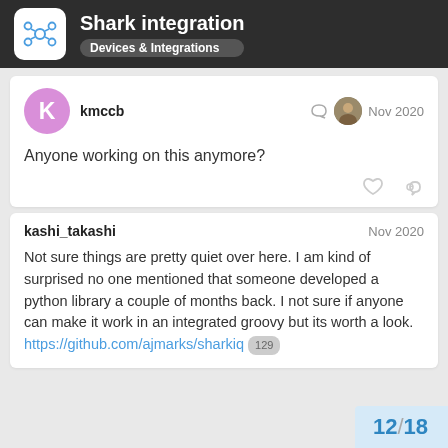Shark integration | Devices & Integrations
kmccb | Nov 2020
Anyone working on this anymore?
kashi_takashi | Nov 2020
Not sure things are pretty quiet over here. I am kind of surprised no one mentioned that someone developed a python library a couple of months back. I not sure if anyone can make it work in an integrated groovy but its worth a look. https://github.com/ajmarks/sharkiq 129
12 / 18